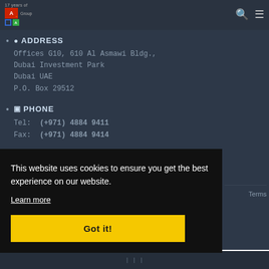[Figure (logo): FA Group logo with '17 years of' text above, red box with A and arrow, 'Group' text, blue outlined box and green box below]
ADDRESS
Offices G10, 610 Al Asmawi Bldg.,
Dubai Investment Park
Dubai UAE
P.O. Box 29512
PHONE
Tel: (+971) 4884 9411
Fax: (+971) 4884 9414
This website uses cookies to ensure you get the best experience on our website.
Learn more
Got it!
Terms